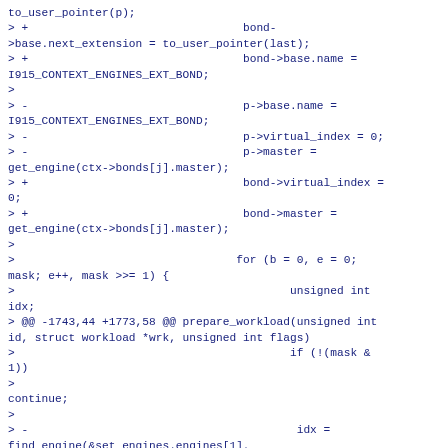to_user_pointer(p);
> +                                bond-
>base.next_extension = to_user_pointer(last);
> +                                bond->base.name =
I915_CONTEXT_ENGINES_EXT_BOND;
>
> -                                p->base.name =
I915_CONTEXT_ENGINES_EXT_BOND;
> -                                p->virtual_index = 0;
> -                                p->master =
get_engine(ctx->bonds[j].master);
> +                                bond->virtual_index =
0;
> +                                bond->master =
get_engine(ctx->bonds[j].master);
>
>                                 for (b = 0, e = 0;
mask; e++, mask >>= 1) {
>                                         unsigned int
idx;
> @@ -1743,44 +1773,58 @@ prepare_workload(unsigned int
id, struct workload *wrk, unsigned int flags)
>                                         if (!(mask &
1))
>
continue;
>
> -                                        idx =
find_engine(&set_engines.engines[1],
> +                                        idx =